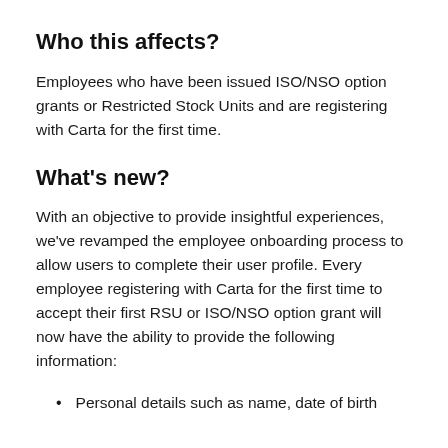Who this affects?
Employees who have been issued ISO/NSO option grants or Restricted Stock Units and are registering with Carta for the first time.
What’s new?
With an objective to provide insightful experiences, we’ve revamped the employee onboarding process to allow users to complete their user profile. Every employee registering with Carta for the first time to accept their first RSU or ISO/NSO option grant will now have the ability to provide the following information:
Personal details such as name, date of birth